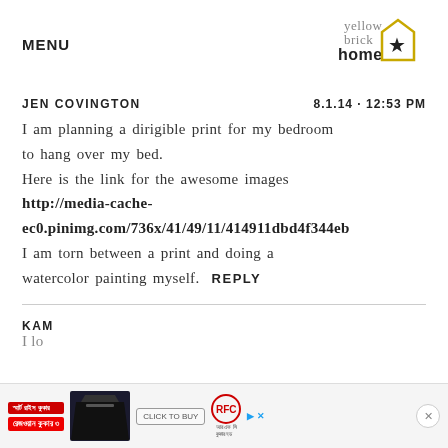MENU | yellow brick home (logo)
JEN COVINGTON   8.1.14 · 12:53 PM
I am planning a dirigible print for my bedroom to hang over my bed.
Here is the link for the awesome images
http://media-cache-ec0.pinimg.com/736x/41/49/11/414911dbd4f344eb
I am torn between a print and doing a watercolor painting myself.  REPLY
[Figure (screenshot): Advertisement banner at the bottom of the page showing Bengali text ads, a kitchen appliance image, a CLICK TO BUY button, and RFC logo with a close (X) button.]